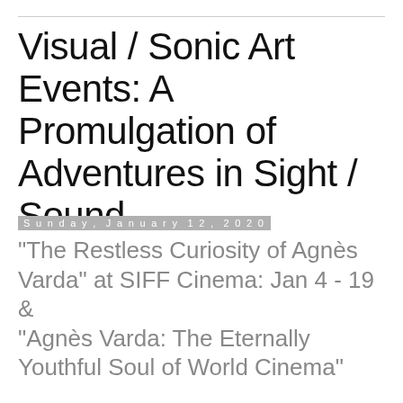Visual / Sonic Art Events: A Promulgation of Adventures in Sight / Sound
Sunday, January 12, 2020
“The Restless Curiosity of Agnès Varda” at SIFF Cinema: Jan 4 - 19 & “Agnès Varda: The Eternally Youthful Soul of World Cinema”